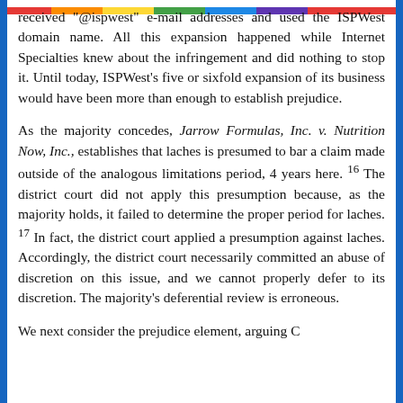received "@ispwest" e-mail addresses and used the ISPWest domain name. All this expansion happened while Internet Specialties knew about the infringement and did nothing to stop it. Until today, ISPWest's five or sixfold expansion of its business would have been more than enough to establish prejudice.
As the majority concedes, Jarrow Formulas, Inc. v. Nutrition Now, Inc., establishes that laches is presumed to bar a claim made outside of the analogous limitations period, 4 years here. 16 The district court did not apply this presumption because, as the majority holds, it failed to determine the proper period for laches. 17 In fact, the district court applied a presumption against laches. Accordingly, the district court necessarily committed an abuse of discretion on this issue, and we cannot properly defer to its discretion. The majority's deferential review is erroneous.
We next consider the prejudice element, arguing C...